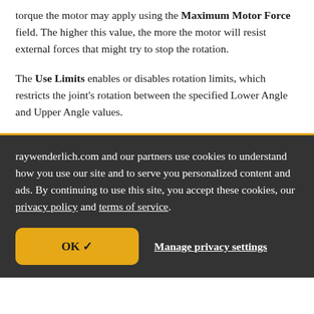torque the motor may apply using the Maximum Motor Force field. The higher this value, the more the motor will resist external forces that might try to stop the rotation.
The Use Limits enables or disables rotation limits, which restricts the joint's rotation between the specified Lower Angle and Upper Angle values.
raywenderlich.com and our partners use cookies to understand how you use our site and to serve you personalized content and ads. By continuing to use this site, you accept these cookies, our privacy policy and terms of service.